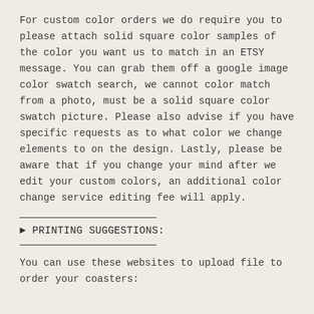For custom color orders we do require you to please attach solid square color samples of the color you want us to match in an ETSY message. You can grab them off a google image color swatch search, we cannot color match from a photo, must be a solid square color swatch picture. Please also advise if you have specific requests as to what color we change elements to on the design. Lastly, please be aware that if you change your mind after we edit your custom colors, an additional color change service editing fee will apply.
► PRINTING SUGGESTIONS:
You can use these websites to upload file to order your coasters: